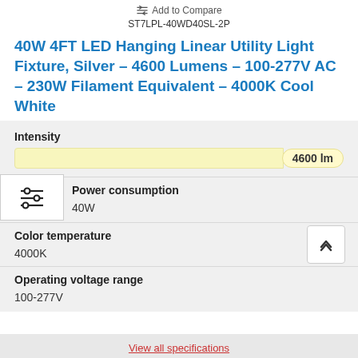Add to Compare
ST7LPL-40WD40SL-2P
40W 4FT LED Hanging Linear Utility Light Fixture, Silver – 4600 Lumens – 100-277V AC – 230W Filament Equivalent – 4000K Cool White
Intensity
4600 lm
[Figure (infographic): Filter/slider icon widget]
Power consumption
40W
Color temperature
4000K
Operating voltage range
100-277V
View all specifications